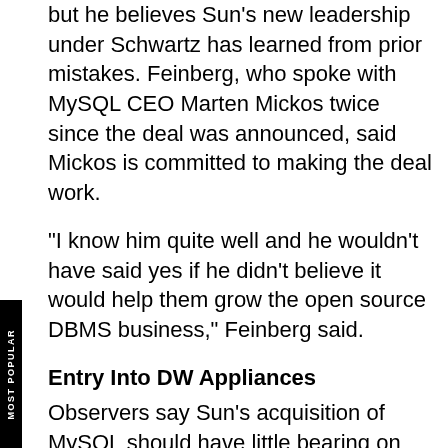but he believes Sun's new leadership under Schwartz has learned from prior mistakes. Feinberg, who spoke with MySQL CEO Marten Mickos twice since the deal was announced, said Mickos is committed to making the deal work.
"I know him quite well and he wouldn't have said yes if he didn't believe it would help them grow the open source DBMS business," Feinberg said.
Entry Into DW Appliances
Observers say Sun's acquisition of MySQL should have little bearing on the overall database landscape. However, it will position Sun in the growing data warehouse and business intelligence appliance markets.
"The data warehouse appliance market will become one of the core markets," said Forrester analyst James Kobielus. "The vast majority of data warehouse appliances on the market run on open source databases."